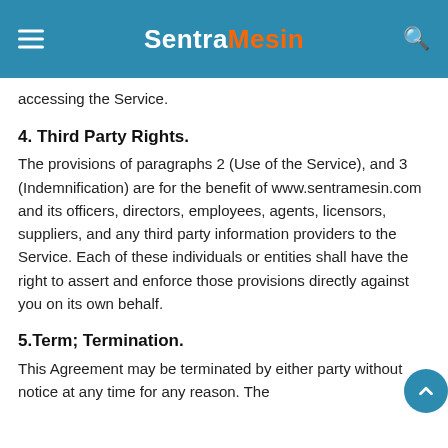SentraMesin
accessing the Service.
4. Third Party Rights.
The provisions of paragraphs 2 (Use of the Service), and 3 (Indemnification) are for the benefit of www.sentramesin.com and its officers, directors, employees, agents, licensors, suppliers, and any third party information providers to the Service. Each of these individuals or entities shall have the right to assert and enforce those provisions directly against you on its own behalf.
5.Term; Termination.
This Agreement may be terminated by either party without notice at any time for any reason. The